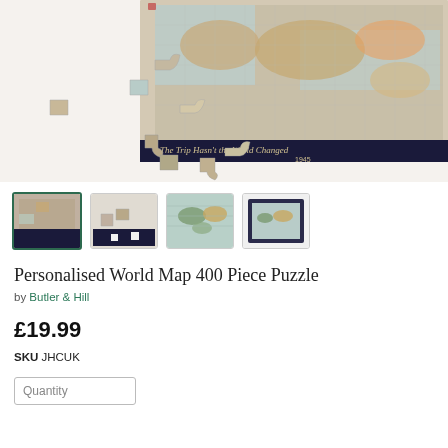[Figure (photo): A partially assembled world map jigsaw puzzle with loose pieces scattered around, showing vintage map graphics with text 'The Trip Hasn't the World Changed 1945' visible on a dark border strip.]
[Figure (photo): Four thumbnail images of the puzzle product: first (selected/highlighted) showing angled puzzle pieces, second showing scattered pieces, third showing the world map puzzle assembled, fourth showing the completed framed puzzle.]
Personalised World Map 400 Piece Puzzle
by Butler & Hill
£19.99
SKU JHCUK
Quantity